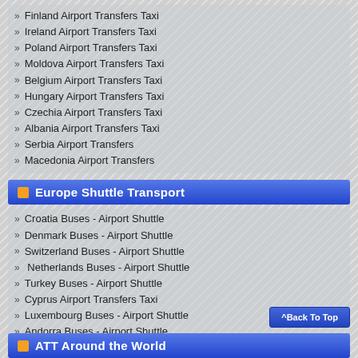Finland Airport Transfers Taxi
Ireland Airport Transfers Taxi
Poland Airport Transfers Taxi
Moldova Airport Transfers Taxi
Belgium Airport Transfers Taxi
Hungary Airport Transfers Taxi
Czechia Airport Transfers Taxi
Albania Airport Transfers Taxi
Serbia Airport Transfers
Macedonia Airport Transfers
Europe Shuttle Transport
Croatia Buses - Airport Shuttle
Denmark Buses - Airport Shuttle
Switzerland Buses - Airport Shuttle
Netherlands Buses - Airport Shuttle
Turkey Buses - Airport Shuttle
Cyprus Airport Transfers Taxi
Luxembourg Buses - Airport Shuttle
Andorra Buses - Airport Shuttle
Malta Buses - Airport Shuttle
Monaco Buses - Airport Shuttle
Vatican City Buses - Airport Shuttle
Yugoslavia Buses - Airport Shuttle
ATT Around the World